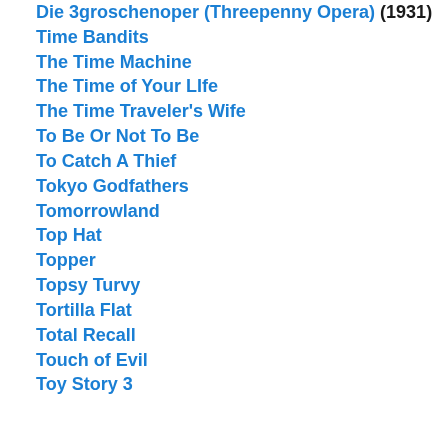Die 3groschenoper (Threepenny Opera) (1931)
Time Bandits
The Time Machine
The Time of Your LIfe
The Time Traveler's Wife
To Be Or Not To Be
To Catch A Thief
Tokyo Godfathers
Tomorrowland
Top Hat
Topper
Topsy Turvy
Tortilla Flat
Total Recall
Touch of Evil
Toy Story 3